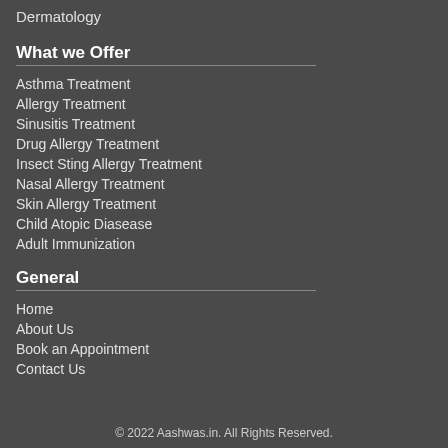Dermatology
What we Offer
Asthma Treatment
Allergy Treatment
Sinusitis Treatment
Drug Allergy Treatment
Insect Sting Allergy Treatment
Nasal Allergy Treatment
Skin Allergy Treatment
Child Atopic Diasease
Adult Immunization
General
Home
About Us
Book an Appointment
Contact Us
© 2022 Aashwas.in. All Rights Reserved.